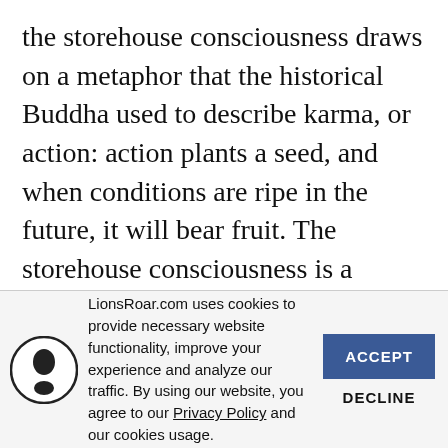the storehouse consciousness draws on a metaphor that the historical Buddha used to describe karma, or action: action plants a seed, and when conditions are ripe in the future, it will bear fruit. The storehouse consciousness is a metaphor to refer to the way that past karma is stored and will ripen in the future when
LionsRoar.com uses cookies to provide necessary website functionality, improve your experience and analyze our traffic. By using our website, you agree to our Privacy Policy and our cookies usage.
ACCEPT
DECLINE